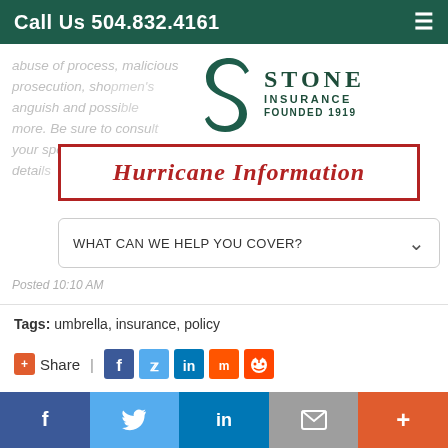Call Us 504.832.4161
abuse of process, malicious prosecution, shopmen's emotional anguish and possible more. Be sure to consult your specific policy for details
[Figure (logo): Stone Insurance Founded 1919 logo with stylized S mark]
Hurricane Information
WHAT CAN WE HELP YOU COVER?
Posted 10:10 AM
Tags: umbrella, insurance, policy
+Share  |  Facebook  Twitter  LinkedIn  Mix  Reddit
[Figure (other): Accessibility icon (person in circle)]
Facebook  Twitter  LinkedIn  Email  Plus